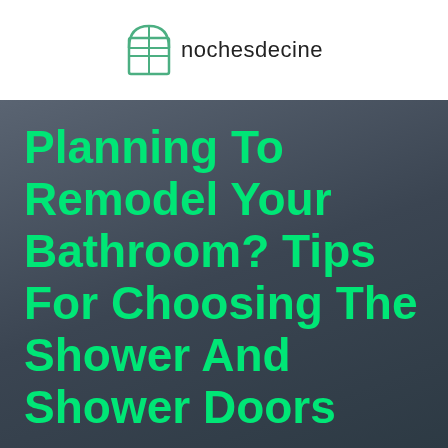nochesdecine
Planning To Remodel Your Bathroom? Tips For Choosing The Shower And Shower Doors